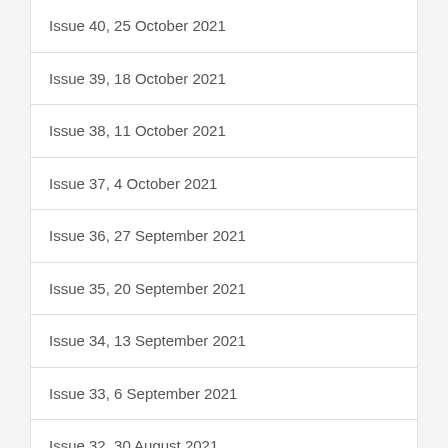Issue 40, 25 October 2021
Issue 39, 18 October 2021
Issue 38, 11 October 2021
Issue 37, 4 October 2021
Issue 36, 27 September 2021
Issue 35, 20 September 2021
Issue 34, 13 September 2021
Issue 33, 6 September 2021
Issue 32, 30 August 2021